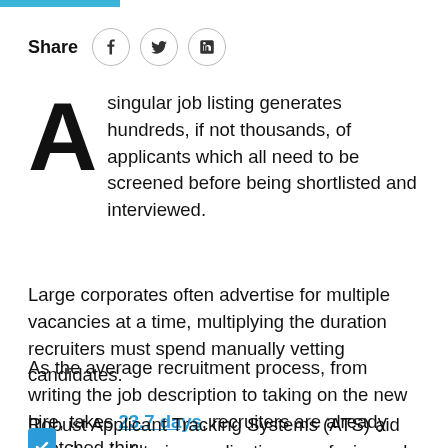Share
A singular job listing generates hundreds, if not thousands, of applicants which all need to be screened before being shortlisted and interviewed.
Large corporates often advertise for multiple vacancies at a time, multiplying the duration recruiters must spend manually vetting candidates.
As the average recruitment process, from writing the job description to taking on the new hire, takes 23.7 days, recruiters are already stretched thin.
Robust Applicant Tracking Systems (ATS) aid recruiters in filtering applications, surfacing only